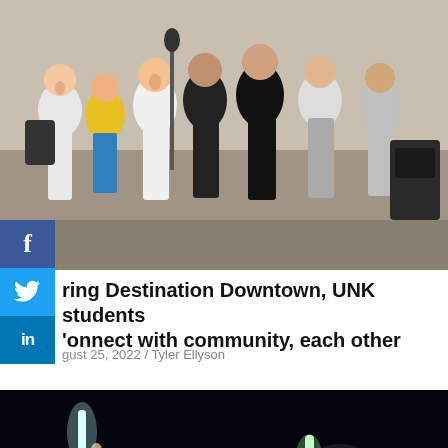[Figure (photo): Students gathered at an outdoor daytime event, some cheering and singing, with microphone stands and music equipment visible]
During Destination Downtown, UNK students connect with community, each other
August 25, 2022 / Tyler Ellyson
[Figure (photo): Students at a nighttime event holding glowing foam sticks, smiling and cheering, with a man in a UNK shirt visible]